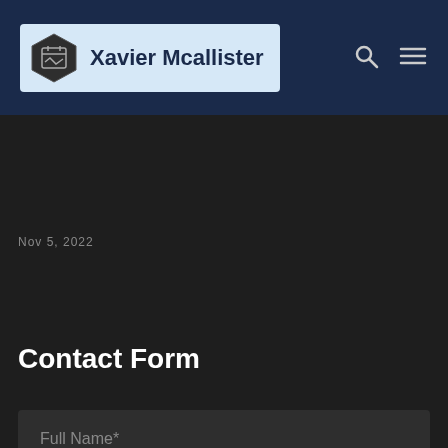[Figure (logo): Xavier Mcallister logo with hexagon icon on light blue background]
Xavier Mcallister
Nov 5, 2022
Contact Form
Full Name*
Email*